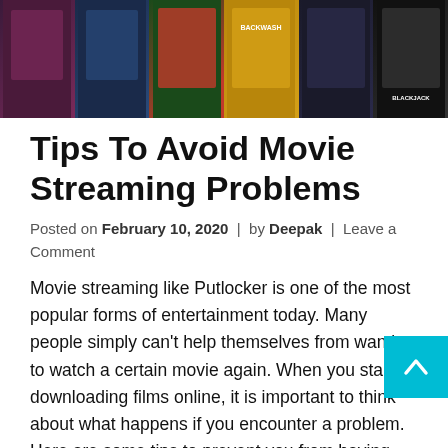[Figure (photo): A banner strip of six movie poster thumbnails showing various films including one labeled 'BACKWASH' and another 'BLACKJACK', displayed in a dark horizontal strip.]
Tips To Avoid Movie Streaming Problems
Posted on February 10, 2020  |  by Deepak  |  Leave a Comment
Movie streaming like Putlocker is one of the most popular forms of entertainment today. Many people simply can't help themselves from wanting to watch a certain movie again. When you start downloading films online, it is important to think about what happens if you encounter a problem. Here are some tips to prevent you from having problems when using streaming movie sites.
First of all, check for your agreement with the company that